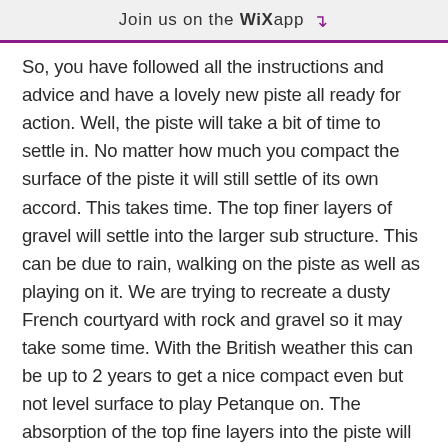Join us on the WiX app
So, you have followed all the instructions and advice and have a lovely new piste all ready for action. Well, the piste will take a bit of time to settle in. No matter how much you compact the surface of the piste it will still settle of its own accord. This takes time. The top finer layers of gravel will settle into the larger sub structure. This can be due to rain, walking on the piste as well as playing on it. We are trying to recreate a dusty French courtyard with rock and gravel so it may take some time. With the British weather this can be up to 2 years to get a nice compact even but not level surface to play Petanque on. The absorption of the top fine layers into the piste will give a nice hard surface but you may need to